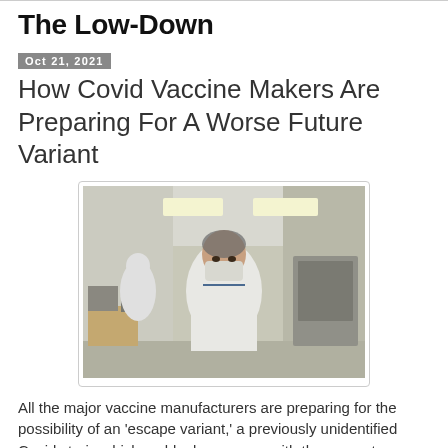The Low-Down
Oct 21, 2021
How Covid Vaccine Makers Are Preparing For A Worse Future Variant
[Figure (photo): A man in a white lab coat, face mask, and hair net standing in a pharmaceutical laboratory environment with equipment and other workers in the background.]
All the major vaccine manufacturers are preparing for the possibility of an 'escape variant,' a previously unidentified Covid strain which suddenly emerges with the power to